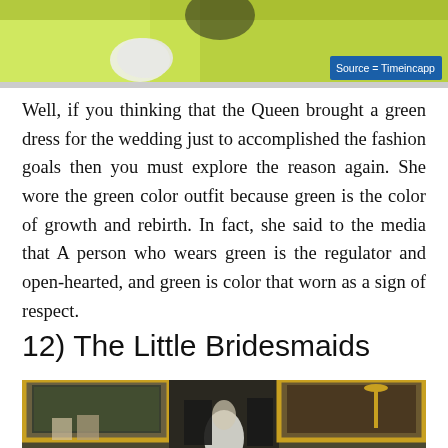[Figure (photo): Partial photo of a person wearing a bright yellow-green outfit with white gloves, top portion of image. Source badge reads 'Source = Timeincapp']
Well, if you thinking that the Queen brought a green dress for the wedding just to accomplished the fashion goals then you must explore the reason again. She wore the green color outfit because green is the color of growth and rebirth. In fact, she said to the media that A person who wears green is the regulator and open-hearted, and green is color that worn as a sign of respect.
12) The Little Bridesmaids
[Figure (photo): Photo of a formal royal wedding group in an ornate room with gold-framed mirrors, green walls, and candelabras. The group includes wedding party members in formal attire.]